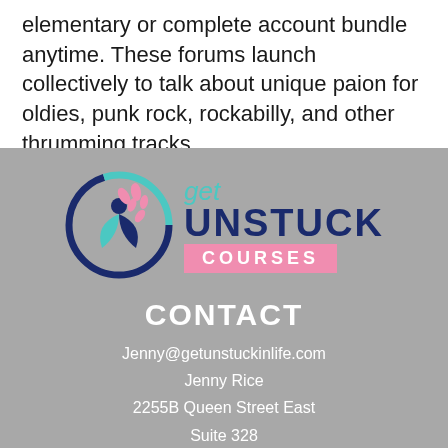elementary or complete account bundle anytime. These forums launch collectively to talk about unique paion for oldies, punk rock, rockabilly, and other thrumming tracks.
[Figure (logo): Get Unstuck Courses logo: circular emblem with dark blue and teal figure with pink leaves, beside text 'get UNSTUCK COURSES' in teal/dark blue/pink]
CONTACT
Jenny@getunstuckinlife.com
Jenny Rice
2255B Queen Street East
Suite 328
Toronto, ON